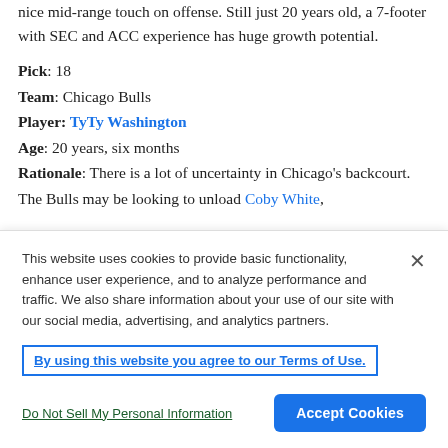second in the nation with no blocks per game and has a nice mid-range touch on offense. Still just 20 years old, a 7-footer with SEC and ACC experience has huge growth potential.
Pick: 18
Team: Chicago Bulls
Player: TyTy Washington
Age: 20 years, six months
Rationale: There is a lot of uncertainty in Chicago's backcourt. The Bulls may be looking to unload Coby White,
This website uses cookies to provide basic functionality, enhance user experience, and to analyze performance and traffic. We also share information about your use of our site with our social media, advertising, and analytics partners.
By using this website you agree to our Terms of Use.
Do Not Sell My Personal Information
Accept Cookies